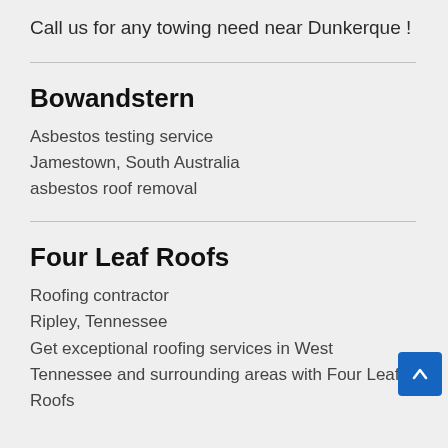Call us for any towing need near Dunkerque !
Bowandstern
Asbestos testing service
Jamestown, South Australia
asbestos roof removal
Four Leaf Roofs
Roofing contractor
Ripley, Tennessee
Get exceptional roofing services in West Tennessee and surrounding areas with Four Leaf Roofs